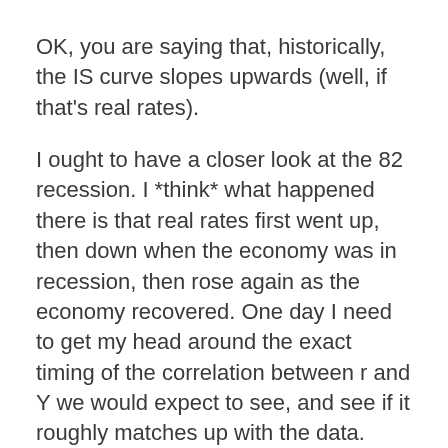OK, you are saying that, historically, the IS curve slopes upwards (well, if that's real rates).
I ought to have a closer look at the 82 recession. I *think* what happened there is that real rates first went up, then down when the economy was in recession, then rose again as the economy recovered. One day I need to get my head around the exact timing of the correlation between r and Y we would expect to see, and see if it roughly matches up with the data.